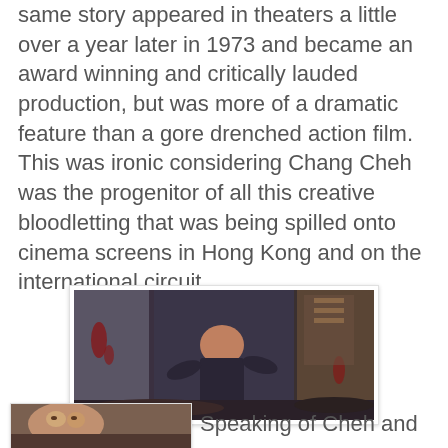same story appeared in theaters a little over a year later in 1973 and became an award winning and critically lauded production, but was more of a dramatic feature than a gore drenched action film. This was ironic considering Chang Cheh was the progenitor of all this creative bloodletting that was being spilled onto cinema screens in Hong Kong and on the international circuit.
[Figure (photo): A film still showing a person in dark clothing in what appears to be an interior scene with dramatic lighting, from a Hong Kong martial arts or action film.]
[Figure (photo): A partial film still at the bottom left of the page showing a close-up of a person's face.]
Speaking of Cheh and